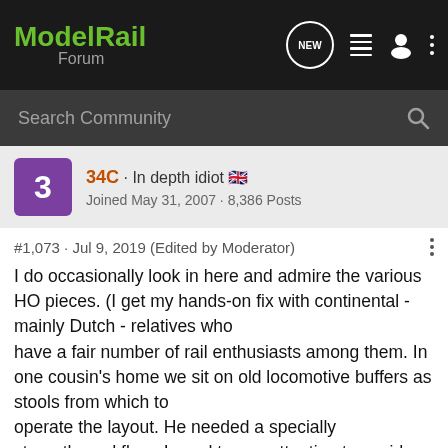ModelRail Forum
Search Community
34C · In depth idiot 🇬🇧
Joined May 31, 2007 · 8,386 Posts
#1,073 · Jul 9, 2019 (Edited by Moderator)
I do occasionally look in here and admire the various HO pieces. (I get my hands-on fix with continental - mainly Dutch - relatives who have a fair number of rail enthusiasts among them. In one cousin's home we sit on old locomotive buffers as stools from which to operate the layout. He needed a specially strengthened floor, I need to pay attention to avoid serious bruises to knees and toes.)
I am very happy that RTR OO has acquired so much from HO